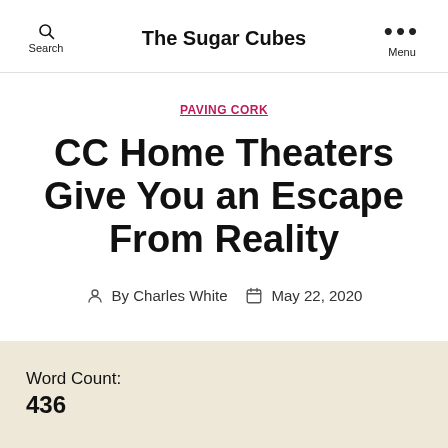Search   The Sugar Cubes   Menu
PAVING CORK
CC Home Theaters Give You an Escape From Reality
By Charles White   May 22, 2020
Word Count:
436